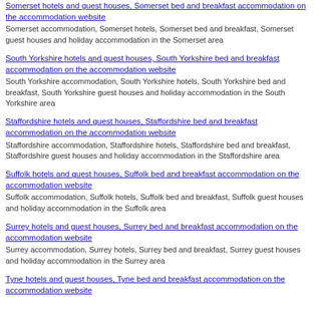Somerset hotels and guest houses, Somerset bed and breakfast accommodation on the accommodation website
Somerset accommodation, Somerset hotels, Somerset bed and breakfast, Somerset guest houses and holiday accommodation in the Somerset area
South Yorkshire hotels and guest houses, South Yorkshire bed and breakfast accommodation on the accommodation website
South Yorkshire accommodation, South Yorkshire hotels, South Yorkshire bed and breakfast, South Yorkshire guest houses and holiday accommodation in the South Yorkshire area
Staffordshire hotels and guest houses, Staffordshire bed and breakfast accommodation on the accommodation website
Staffordshire accommodation, Staffordshire hotels, Staffordshire bed and breakfast, Staffordshire guest houses and holiday accommodation in the Staffordshire area
Suffolk hotels and guest houses, Suffolk bed and breakfast accommodation on the accommodation website
Suffolk accommodation, Suffolk hotels, Suffolk bed and breakfast, Suffolk guest houses and holiday accommodation in the Suffolk area
Surrey hotels and guest houses, Surrey bed and breakfast accommodation on the accommodation website
Surrey accommodation, Surrey hotels, Surrey bed and breakfast, Surrey guest houses and holiday accommodation in the Surrey area
Tyne hotels and guest houses, Tyne bed and breakfast accommodation on the accommodation website